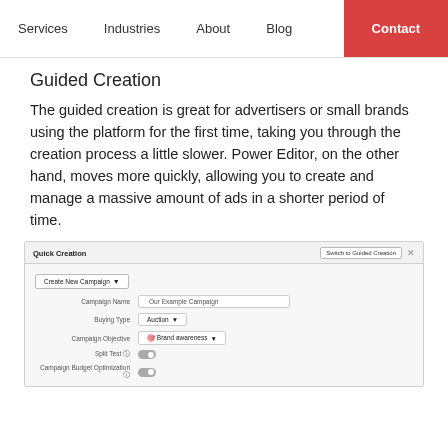Services  Industries  About  Blog  Contact
Guided Creation
The guided creation is great for advertisers or small brands using the platform for the first time, taking you through the creation process a little slower. Power Editor, on the other hand, moves more quickly, allowing you to create and manage a massive amount of ads in a shorter period of time.
[Figure (screenshot): Quick Creation interface screenshot showing Campaign Name field with 'Our Example Campaign', Buying Type dropdown set to 'Auction', Campaign Objective dropdown set to 'Brand awareness', Split Test toggle (off), and Campaign Budget Optimization toggle (off). A 'Switch to Guided Creation' button appears in the top right corner.]